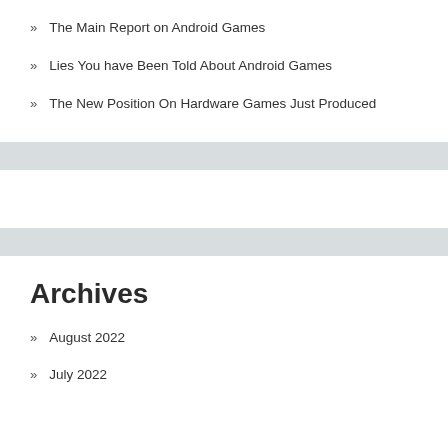The Main Report on Android Games
Lies You have Been Told About Android Games
The New Position On Hardware Games Just Produced
Archives
August 2022
July 2022